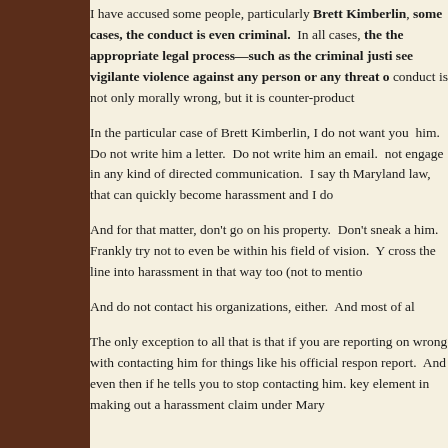I have accused some people, particularly Brett Kimberlin, some cases, the conduct is even criminal. In all cases, the the appropriate legal process—such as the criminal justi see vigilante violence against any person or any threat o conduct is not only morally wrong, but it is counter-product
In the particular case of Brett Kimberlin, I do not want you him. Do not write him a letter. Do not write him an email. not engage in any kind of directed communication. I say th Maryland law, that can quickly become harassment and I do
And for that matter, don't go on his property. Don't sneak a him. Frankly try not to even be within his field of vision. Y cross the line into harassment in that way too (not to mentio
And do not contact his organizations, either. And most of al
The only exception to all that is that if you are reporting on wrong with contacting him for things like his official respon report. And even then if he tells you to stop contacting him. key element in making out a harassment claim under Mary